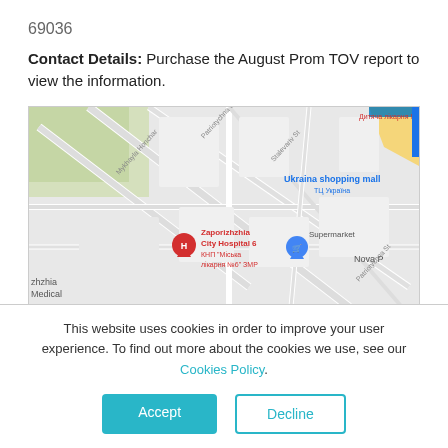69036
Contact Details: Purchase the August Prom TOV report to view the information.
[Figure (map): Google Maps screenshot showing Zaporizhzhia City Hospital 6 location with nearby landmarks including Ukraina shopping mall, Supermarket, and street labels (Patriotychna St, Stalevariv St, Mykhayla Honchar).]
This website uses cookies in order to improve your user experience. To find out more about the cookies we use, see our Cookies Policy.
Accept
Decline